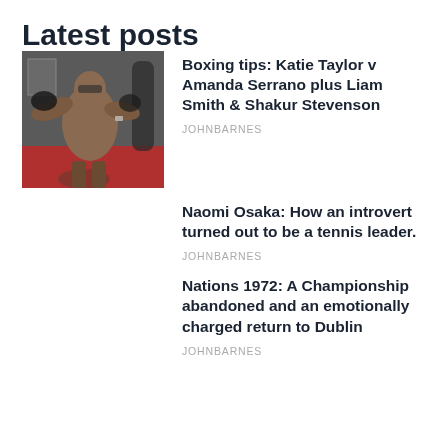Latest posts
[Figure (photo): A shirtless male boxer punching a heavy bag in a gym with red flooring.]
Boxing tips: Katie Taylor v Amanda Serrano plus Liam Smith & Shakur Stevenson
JOHNBARNES
Naomi Osaka: How an introvert turned out to be a tennis leader.
JOHNBARNES
Nations 1972: A Championship abandoned and an emotionally charged return to Dublin
JOHNBARNES